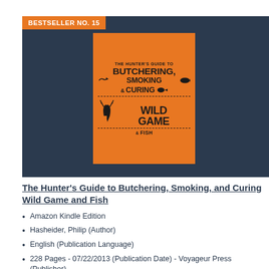BESTSELLER NO. 15
[Figure (illustration): Book cover of The Hunter's Guide to Butchering, Smoking and Curing Wild Game and Fish on an orange background with dark text and silhouette animals]
The Hunter's Guide to Butchering, Smoking, and Curing Wild Game and Fish
Amazon Kindle Edition
Hasheider, Philip (Author)
English (Publication Language)
228 Pages - 07/22/2013 (Publication Date) - Voyageur Press (Publisher)